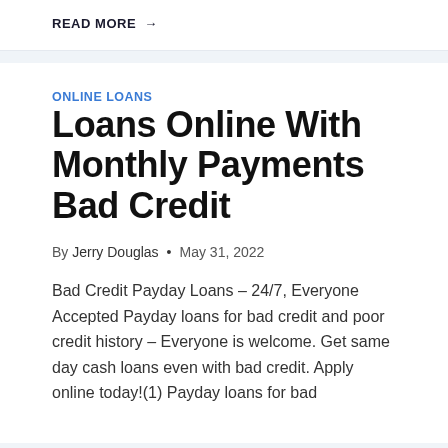READ MORE →
ONLINE LOANS
Loans Online With Monthly Payments Bad Credit
By Jerry Douglas • May 31, 2022
Bad Credit Payday Loans – 24/7, Everyone Accepted Payday loans for bad credit and poor credit history – Everyone is welcome. Get same day cash loans even with bad credit. Apply online today!(1) Payday loans for bad